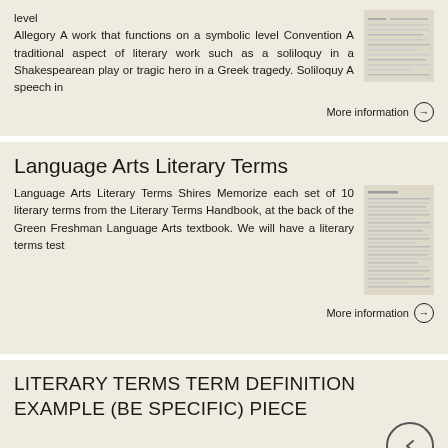level Allegory A work that functions on a symbolic level Convention A traditional aspect of literary work such as a soliloquy in a Shakespearean play or tragic hero in a Greek tragedy. Soliloquy A speech in
[Figure (other): Thumbnail image of a document page showing a table or list]
More information →
Language Arts Literary Terms
Language Arts Literary Terms Shires Memorize each set of 10 literary terms from the Literary Terms Handbook, at the back of the Green Freshman Language Arts textbook. We will have a literary terms test
[Figure (other): Thumbnail image of a document page with dense text content]
More information →
LITERARY TERMS TERM DEFINITION EXAMPLE (BE SPECIFIC) PIECE